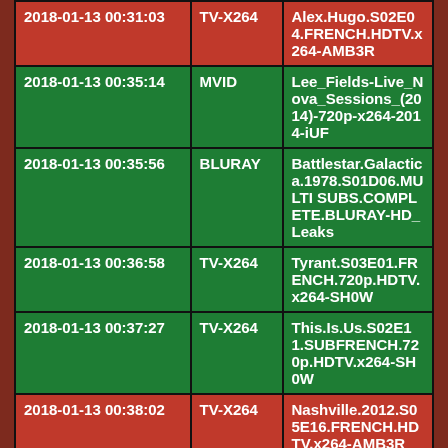| 2018-01-13 00:31:03 | TV-X264 | Alex.Hugo.S02E04.FRENCH.HDTV.x264-AMB3R |
| 2018-01-13 00:35:14 | MVID | Lee_Fields-Live_Nova_Sessions_(2014)-720p-x264-2014-iUF |
| 2018-01-13 00:35:56 | BLURAY | Battlestar.Galactica.1978.S01D06.MULTI SUBS.COMPLETE.BLURAY-HD_Leaks |
| 2018-01-13 00:36:58 | TV-X264 | Tyrant.S03E01.FRENCH.720p.HDTV.x264-SH0W |
| 2018-01-13 00:37:27 | TV-X264 | This.Is.Us.S02E11.SUBFRENCH.720p.HDTV.x264-SH0W |
| 2018-01-13 00:38:02 | TV-X264 | Nashville.2012.S05E16.FRENCH.HDTV.x264-AMB3R |